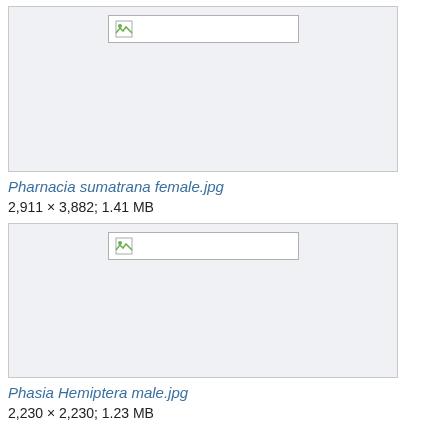[Figure (photo): Broken image placeholder for Pharnacia sumatrana female.jpg]
Pharnacia sumatrana female.jpg
2,911 × 3,882; 1.41 MB
[Figure (photo): Broken image placeholder for Phasia Hemiptera male.jpg]
Phasia Hemiptera male.jpg
2,230 × 2,230; 1.23 MB